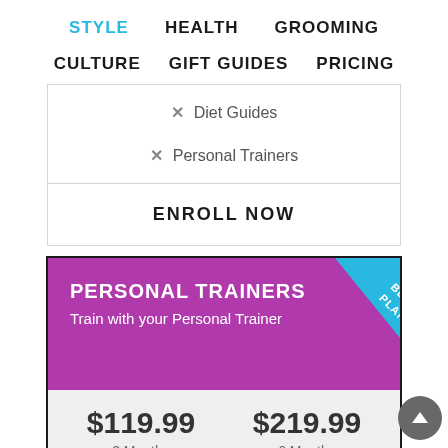STYLE  HEALTH  GROOMING
CULTURE  GIFT GUIDES  PRICING
✕ Diet Guides
✕ Personal Trainers
ENROLL NOW
PERSONAL TRAINERS
Train with your Personal Trainer
BEST PLAN
$119.99  2 Months   $219.99  6 Months